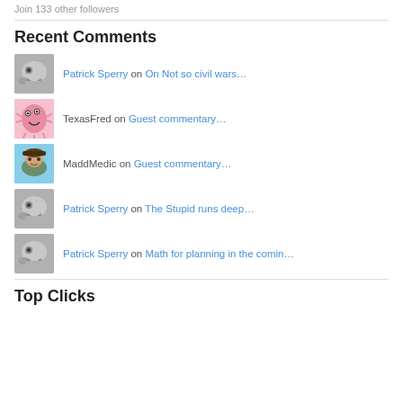Join 133 other followers
Recent Comments
Patrick Sperry on On Not so civil wars…
TexasFred on Guest commentary…
MaddMedic on Guest commentary…
Patrick Sperry on The Stupid runs deep…
Patrick Sperry on Math for planning in the comin…
Top Clicks